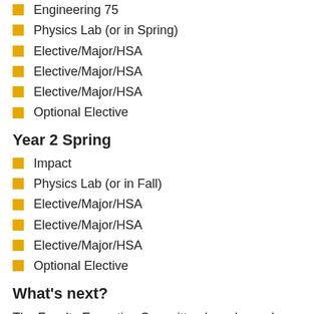Engineering 75
Physics Lab (or in Spring)
Elective/Major/HSA
Elective/Major/HSA
Elective/Major/HSA
Optional Elective
Year 2 Spring
Impact
Physics Lab (or in Fall)
Elective/Major/HSA
Elective/Major/HSA
Elective/Major/HSA
Optional Elective
What’s next?
The Faculty Executive Committee has charged a Core Implementation Committee with finalizing a number of important issues in Academic Year 2020–2021. Among these issues are the